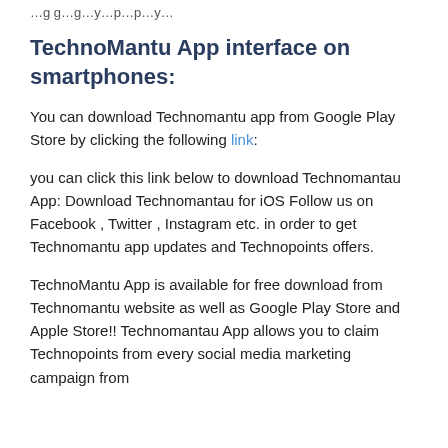…gg…g…y…p…p…y…
TechnoMantu App interface on smartphones:
You can download Technomantu app from Google Play Store by clicking the following link:
you can click this link below to download Technomantau App: Download Technomantau for iOS Follow us on Facebook , Twitter , Instagram etc. in order to get Technomantu app updates and Technopoints offers.
TechnoMantu App is available for free download from Technomantu website as well as Google Play Store and Apple Store!! Technomantau App allows you to claim Technopoints from every social media marketing campaign from